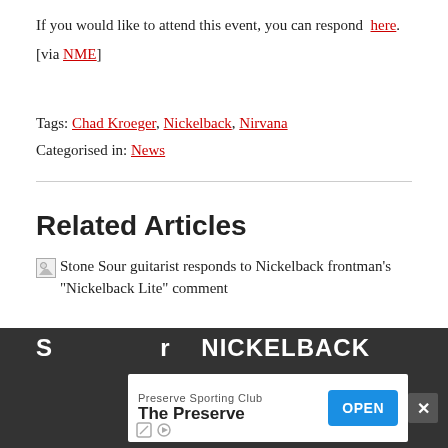If you would like to attend this event, you can respond here.
[via NME]
Tags: Chad Kroeger, Nickelback, Nirvana
Categorised in: News
Related Articles
Stone Sour guitarist responds to Nickelback frontman's "Nickelback Lite" comment
[Figure (other): Advertisement banner: Preserve Sporting Club - The Preserve, with OPEN button]